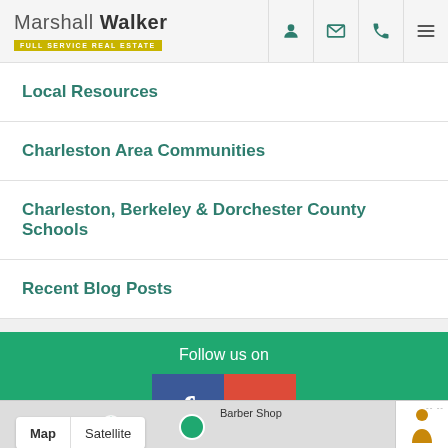Marshall Walker Full Service Real Estate
Local Resources
Charleston Area Communities
Charleston, Berkeley & Dorchester County Schools
Recent Blog Posts
Follow us on
[Figure (logo): Facebook and Google+ social media icons]
[Figure (map): Google Maps snippet showing Map/Satellite toggle, Barber Shop label, and map pin]